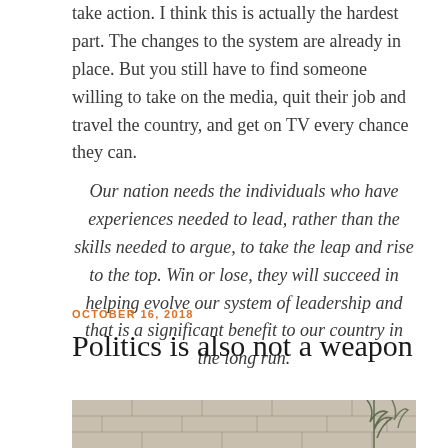take action. I think this is actually the hardest part. The changes to the system are already in place. But you still have to find someone willing to take on the media, quit their job and travel the country, and get on TV every chance they can.
Our nation needs the individuals who have experiences needed to lead, rather than the skills needed to argue, to take the leap and rise to the top. Win or lose, they will succeed in helping evolve our system of leadership and that is a significant benefit to our country in the long run.
OCTOBER 16, 2018
Politics is also not a weapon
[Figure (photo): Bottom portion of a stone wall background with green plant leaves visible]